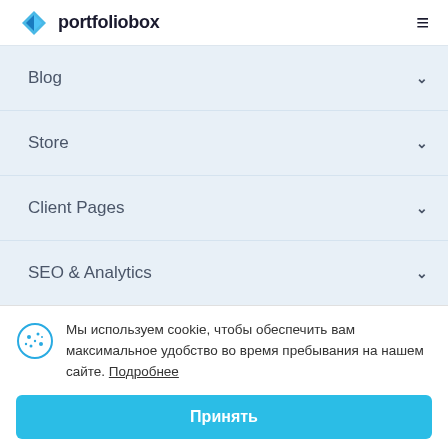portfoliobox
Blog
Store
Client Pages
SEO & Analytics
Мы используем cookie, чтобы обеспечить вам максимальное удобство во время пребывания на нашем сайте. Подробнее
Принять